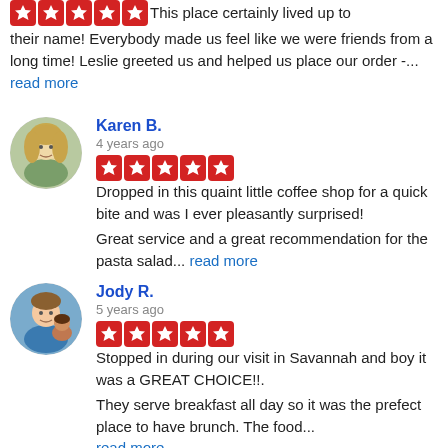This place certainly lived up to their name! Everybody made us feel like we were friends from a long time! Leslie greeted us and helped us place our order -... read more
Karen B.
4 years ago
Dropped in this quaint little coffee shop for a quick bite and was I ever pleasantly surprised!
Great service and a great recommendation for the pasta salad... read more
Jody R.
5 years ago
Stopped in during our visit in Savannah and boy it was a GREAT CHOICE!!. They serve breakfast all day so it was the prefect place to have brunch. The food...
read more